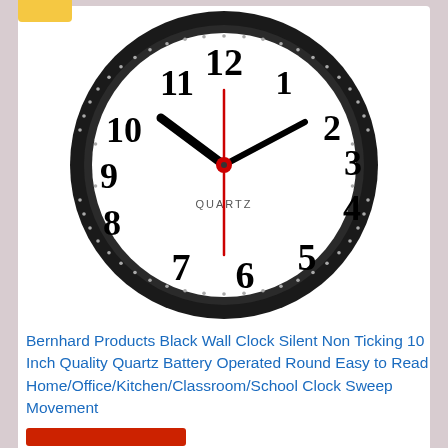[Figure (photo): A round black wall clock with white face showing Arabic numerals 1-12, minute and hour hands pointing near 10 and 2, a red second hand, and the word QUARTZ printed below center.]
Bernhard Products Black Wall Clock Silent Non Ticking 10 Inch Quality Quartz Battery Operated Round Easy to Read Home/Office/Kitchen/Classroom/School Clock Sweep Movement